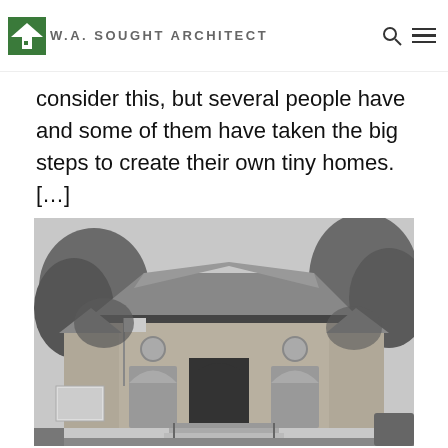W.A. SOUGHT ARCHITECT
consider this, but several people have and some of them have taken the big steps to create their own tiny homes. […]
[Figure (photo): Black and white photograph of a building with arched entrances, a sloped roof, surrounded by trees. A sign and a flag are visible in the foreground.]